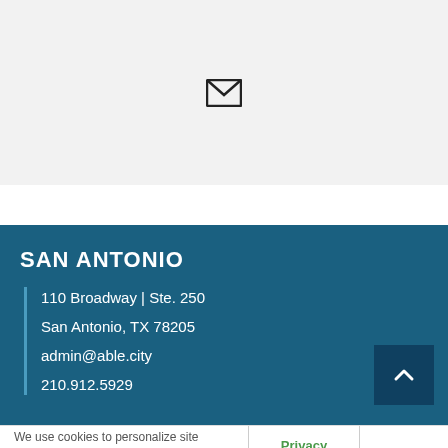[Figure (illustration): Email envelope icon centered in a light gray box]
SAN ANTONIO
110 Broadway | Ste. 250
San Antonio, TX 78205
admin@able.city
210.912.5929
We use cookies to personalize site content, for social media features and to analyze our traffic.
Privacy Center
Accept